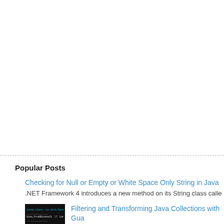Popular Posts
Checking for Null or Empty or White Space Only String in Java
.NET Framework 4 introduces a new method on its String class calle
[Figure (screenshot): Thumbnail screenshot of a terminal/console window showing Java/Groovy code in dark background]
Filtering and Transforming Java Collections with Gua
One of the conveniences of Groovy is the ability to c